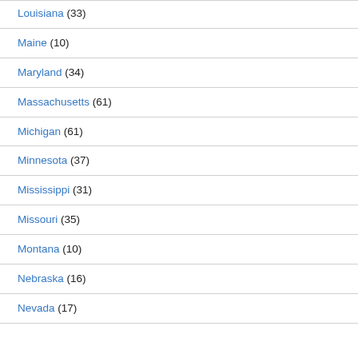Louisiana (33)
Maine (10)
Maryland (34)
Massachusetts (61)
Michigan (61)
Minnesota (37)
Mississippi (31)
Missouri (35)
Montana (10)
Nebraska (16)
Nevada (17)